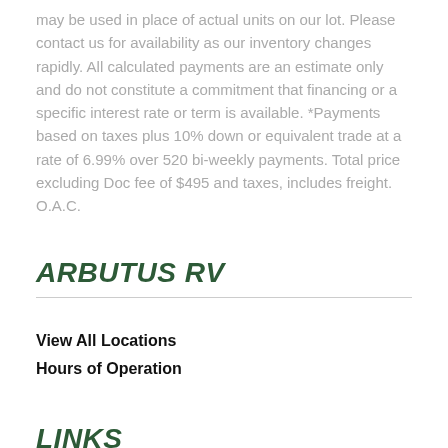may be used in place of actual units on our lot. Please contact us for availability as our inventory changes rapidly. All calculated payments are an estimate only and do not constitute a commitment that financing or a specific interest rate or term is available. *Payments based on taxes plus 10% down or equivalent trade at a rate of 6.99% over 520 bi-weekly payments. Total price excluding Doc fee of $495 and taxes, includes freight. O.A.C.
ARBUTUS RV
View All Locations
Hours of Operation
LINKS